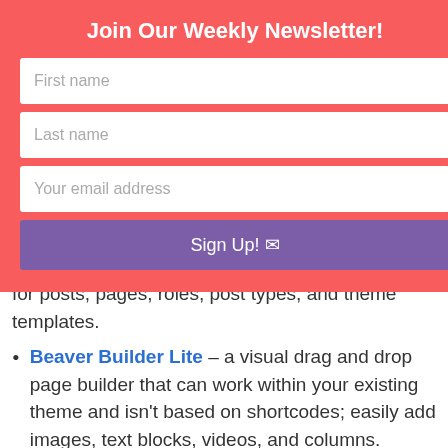Join Our Weekly Newsletter!
First name
Last name
Your email address
Sign Up! ✉
for posts, pages, roles, post types, and theme templates.
Beaver Builder Lite – a visual drag and drop page builder that can work within your existing theme and isn't based on shortcodes; easily add images, text blocks, videos, and columns.
SEO and Social Sharing
All-In-One SEO Pack – optimize your pages and